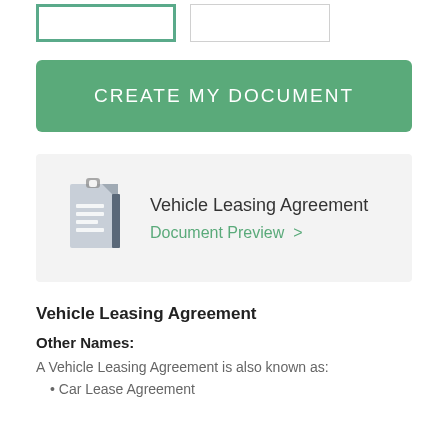[Figure (screenshot): Two form input boxes at top, one with teal border (selected), one with gray border]
CREATE MY DOCUMENT
[Figure (screenshot): Document preview card with document icon, title 'Vehicle Leasing Agreement' and 'Document Preview >' link]
Vehicle Leasing Agreement
Other Names:
A Vehicle Leasing Agreement is also known as: